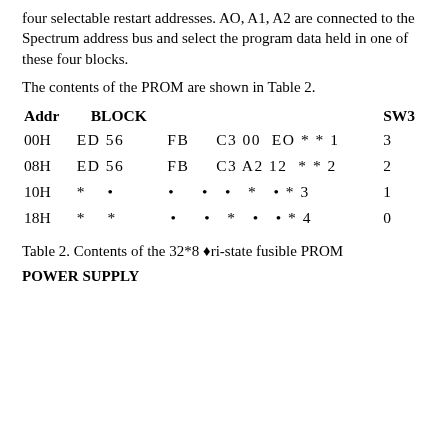four selectable restart addresses. AO, A1, A2 are connected to the Spectrum address bus and select the program data held in one of these four blocks.
The contents of the PROM are shown in Table 2.
| Addr | BLOCK | SW3 |
| --- | --- | --- |
| 00H | ED 56        FB    C3 00  EO * * 1 | 3 |
| 08H | ED 56        FB    C3 A2 12  * * 2 | 2 |
| 10H | *    •              •     •   •   *   • * 3 | 1 |
| 18H | *    *              •     •   *   •   • * 4 | 0 |
Table 2. Contents of the 32*8 ♦ri-state fusible PROM
POWER SUPPLY